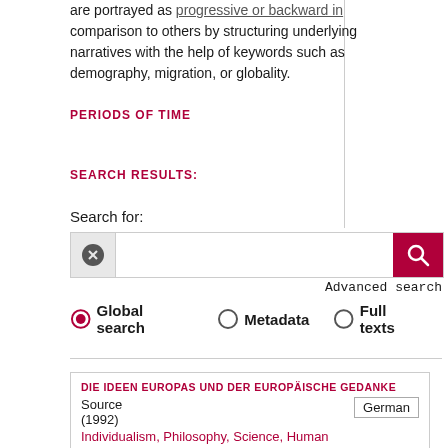are portrayed as progressive or backward in comparison to others by structuring underlying narratives with the help of keywords such as demography, migration, or globality.
PERIODS OF TIME
SEARCH RESULTS:
Search for:
[Figure (screenshot): Search bar with clear button (circled X), text input field, and red search button with magnifying glass icon]
Advanced search
Global search   Metadata   Full texts
DIE IDEEN EUROPAS UND DER EUROPÄISCHE GEDANKE
Source
(1992)
Individualism, Philosophy, Science, Human
German